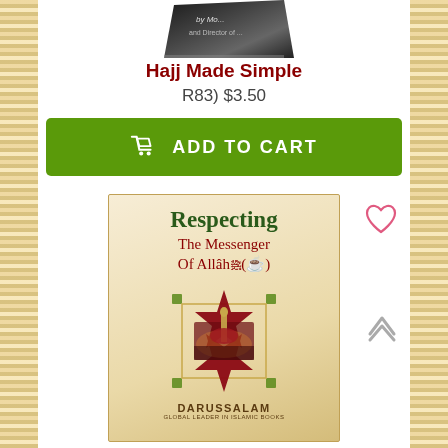[Figure (photo): Partial top view of a book cover (Hajj Made Simple), showing dark cover with partial text visible]
Hajj Made Simple
R83) $3.50
ADD TO CART
[Figure (photo): Book cover of 'Respecting The Messenger Of Allah' published by Darussalam, featuring a star-shaped ornament with a mosque image inside, on a warm beige/gold background]